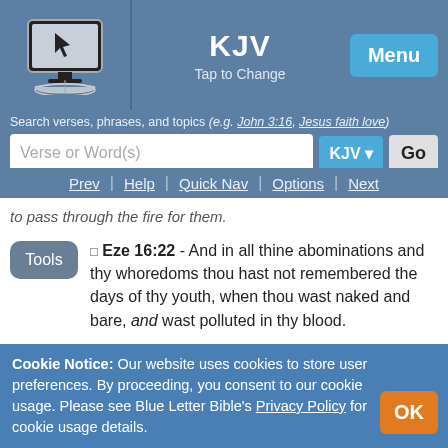KJV Tap to Change | Menu
Search verses, phrases, and topics (e.g. John 3:16, Jesus faith love)
Verse or Word(s) | KJV | Go
Prev | Help | Quick Nav | Options | Next
to pass through the fire for them.
Eze 16:22 - And in all thine abominations and thy whoredoms thou hast not remembered the days of thy youth, when thou wast naked and bare, and wast polluted in thy blood.
Eze 16:23 - And it came to pass after all
Cookie Notice: Our website uses cookies to store user preferences. By proceeding, you consent to our cookie usage. Please see Blue Letter Bible's Privacy Policy for cookie usage details.